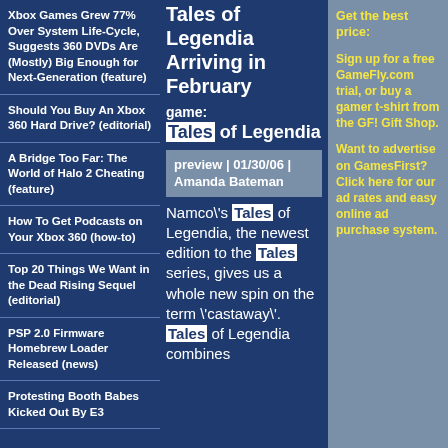Xbox Games Grew 77% Over System Life-Cycle, Suggests 360 DVDs Are (Mostly) Big Enough for Next-Generation (feature)
Should You Buy An Xbox 360 Hard Drive? (editorial)
A Bridge Too Far: The World of Halo 2 Cheating (feature)
How To Get Podcasts on Your Xbox 360 (how-to)
Top 20 Things We Want in the Dead Rising Sequel (editorial)
PSP 2.0 Firmware Homebrew Loader Released (news)
Protesting Booth Babes Kicked Out By E3
Tales of Legendia Arriving in February
game: Tales of Legendia
preview | 01/30/06 | Amanda Bateman
Namco\'s Tales of Legendia, the newest edition to the Tales series, gives us a whole new spin on the term \'castaway\'. Tales of Legendia combines
Get the best price:
Sign up for a free GameFly.com trial, or buy a gamer t-shirt from the GF! Gift Shop.
Want to advertise on GamesFirst? Click here for our ad rates and easy online ad purchase system.